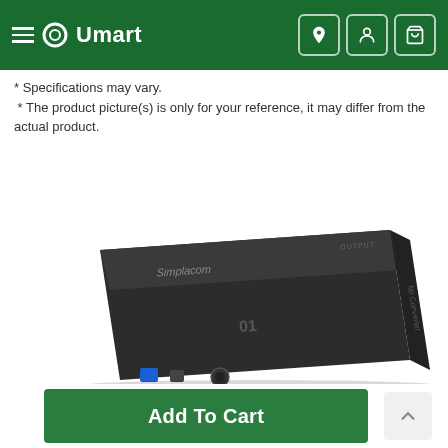Umart
* Specifications may vary.
* The product picture(s) is only for your reference, it may differ from the actual product.
[Figure (photo): A dark-colored Simplacom HDMI converter device, photographed at an angle showing the top and front faces with branding and connector ports visible at the bottom.]
Add To Cart